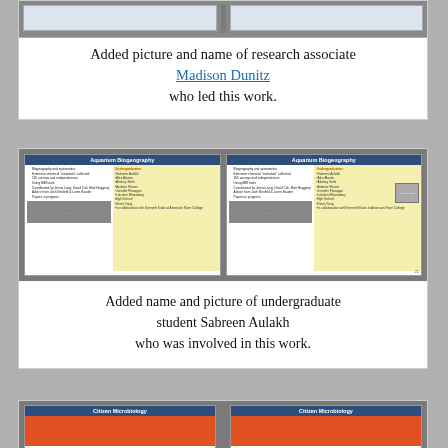[Figure (screenshot): Two side-by-side slide thumbnails showing partial content at top of page (cut off)]
Added picture and name of research associate Madison Dunitz who led this work.
[Figure (screenshot): Two side-by-side slide thumbnails of 'Aquarium Biogeography' slides. Left slide shows bullet list and fish image. Right slide shows same content plus a photo of Madison Dunitz added.]
Added name and picture of undergraduate student Sabreen Aulakh who was involved in this work.
[Figure (screenshot): Two side-by-side slide thumbnails of 'Citizen Microbiology' slides (partially visible at bottom)]